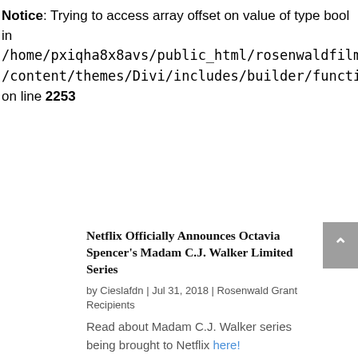Notice: Trying to access array offset on value of type bool in /home/pxiqha8x8avs/public_html/rosenwaldfilm.org/content/themes/Divi/includes/builder/functions.php on line 2253
Netflix Officially Announces Octavia Spencer's Madam C.J. Walker Limited Series
by Cieslafdn | Jul 31, 2018 | Rosenwald Grant Recipients
Read about Madam C.J. Walker series being brought to Netflix here!